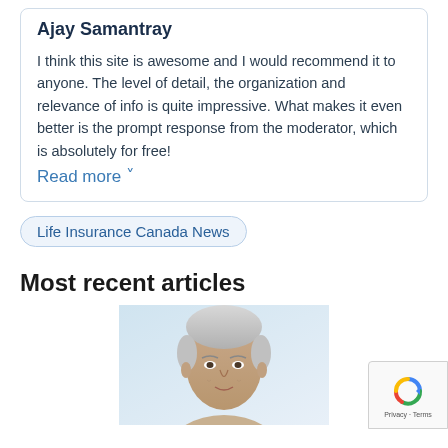Ajay Samantray
I think this site is awesome and I would recommend it to anyone. The level of detail, the organization and relevance of info is quite impressive. What makes it even better is the prompt response from the moderator, which is absolutely for free!
Read more ˅
Life Insurance Canada News
Most recent articles
[Figure (photo): Portrait photo of a middle-aged man with gray/white hair looking at the camera, professional appearance, light blue/white background]